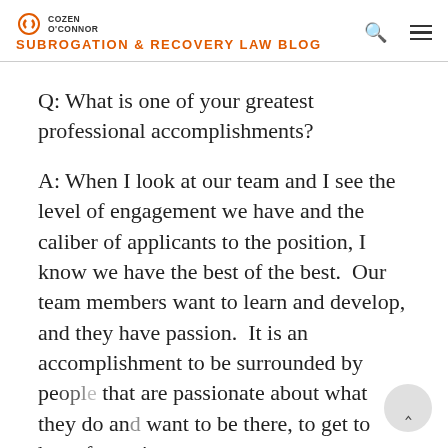COZEN O'CONNOR SUBROGATION & RECOVERY LAW BLOG
Q: What is one of your greatest professional accomplishments?
A: When I look at our team and I see the level of engagement we have and the caliber of applicants to the position, I know we have the best of the best.  Our team members want to learn and develop, and they have passion.  It is an accomplishment to be surrounded by people that are passionate about what they do and want to be there, to get to have fun going to